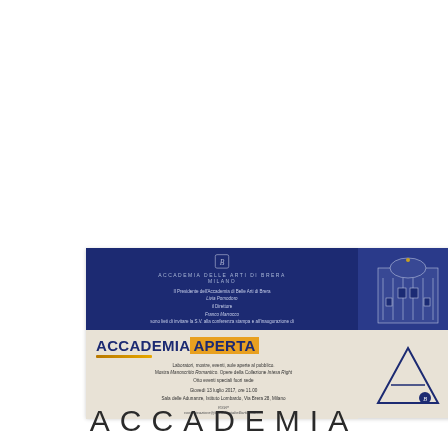[Figure (other): Invitation card for Accademia di Belle Arti di Brera event 'Accademia Aperta'. Dark blue top section with logo and invitation text, cream/beige bottom section with event details, building illustration on right side, large decorative A logo.]
ACCADEMIA